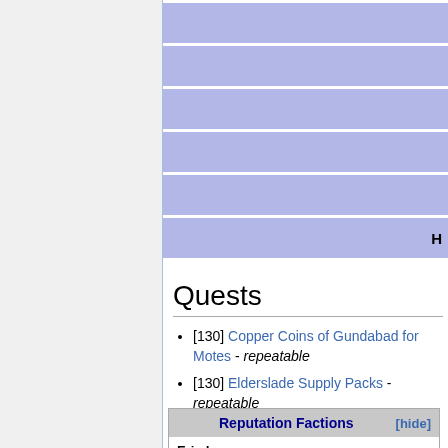[Figure (other): Partially visible blue-purple table rows at top of page, clipped on right side, with 'H' visible at bottom right]
Quests
[130] Copper Coins of Gundabad for Motes - repeatable
[130] Elderslade Supply Packs - repeatable
| Reputation Factions | [hide] |
| --- | --- |
| Eriador: | Algraig, Men of Enedwaith • Council of the |